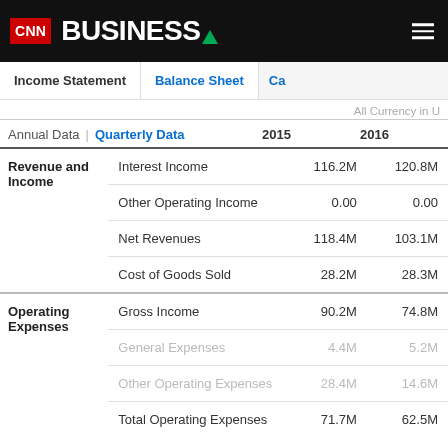CNN Business
Income Statement | Balance Sheet | Cash
All Currency in U
|  |  | 2015 | 2016 |
| --- | --- | --- | --- |
| Revenue and Income | Interest Income | 116.2M | 120.8M |
|  | Other Operating Income | 0.00 | 0.00 |
|  | Net Revenues | 118.4M | 103.1M |
|  | Cost of Goods Sold | 28.2M | 28.3M |
| Operating Expenses | Gross Income | 90.2M | 74.8M |
|  | General Expenses | 4.4M | 5.2M |
|  | Other Operating Expenses | 28.4M | 14.6M |
|  | Total Operating Expenses | 71.7M | 62.5M |